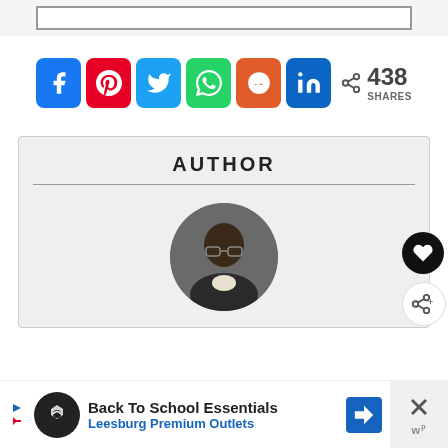[Figure (screenshot): Top portion of a bordered image/content box]
[Figure (infographic): Social share bar with Facebook, Pinterest, Twitter, WhatsApp, Reddit, LinkedIn buttons and share count of 438]
438 SHARES
AUTHOR
[Figure (photo): Circular headshot photo of a Black man wearing glasses, in professional attire]
Back To School Essentials
Leesburg Premium Outlets